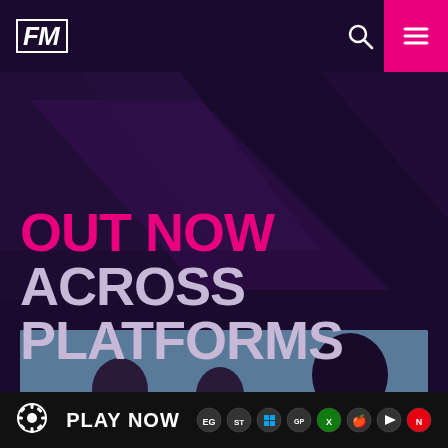[Figure (logo): FM Football Manager logo in top left, white text on dark background with border]
[Figure (illustration): Search icon (magnifying glass) in top navigation bar]
[Figure (illustration): Hamburger menu icon on pink/magenta background in top right corner]
OUT NOW ACROSS PLATFORMS
[Figure (photo): Football players in purple Hummel jerseys standing together on pitch, player with KIM on back visible on right]
PLAY NOW
[Figure (logo): Platform icons: Epic Games, Steam, Windows, Game Pass, Xbox, Apple, Google Play, Nintendo Switch]